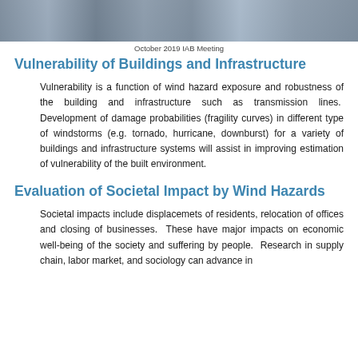[Figure (photo): Photograph of people at a meeting, cropped at top of page]
October 2019 IAB Meeting
Vulnerability of Buildings and Infrastructure
Vulnerability is a function of wind hazard exposure and robustness of the building and infrastructure such as transmission lines. Development of damage probabilities (fragility curves) in different type of windstorms (e.g. tornado, hurricane, downburst) for a variety of buildings and infrastructure systems will assist in improving estimation of vulnerability of the built environment.
Evaluation of Societal Impact by Wind Hazards
Societal impacts include displacemets of residents, relocation of offices and closing of businesses. These have major impacts on economic well-being of the society and suffering by people. Research in supply chain, labor market, and sociology can advance in